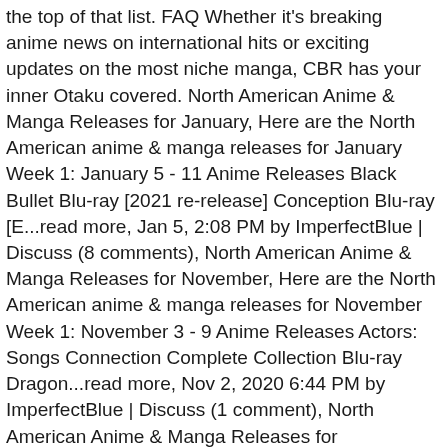the top of that list. FAQ Whether it's breaking anime news on international hits or exciting updates on the most niche manga, CBR has your inner Otaku covered. North American Anime & Manga Releases for January, Here are the North American anime & manga releases for January Week 1: January 5 - 11 Anime Releases Black Bullet Blu-ray [2021 re-release] Conception Blu-ray [E...read more, Jan 5, 2:08 PM by ImperfectBlue | Discuss (8 comments), North American Anime & Manga Releases for November, Here are the North American anime & manga releases for November Week 1: November 3 - 9 Anime Releases Actors: Songs Connection Complete Collection Blu-ray Dragon...read more, Nov 2, 2020 6:44 PM by ImperfectBlue | Discuss (1 comment), North American Anime & Manga Releases for September, Here are the North American anime & manga releases for September Week 1: September 1 - 7 Anime Releases Africa no Salaryman (TV) (Africa Salaryman) Complete Coll...read more, Aug 31, 2020 2:34 PM by ImperfectBlue | Discuss (0 comments), North American Anime